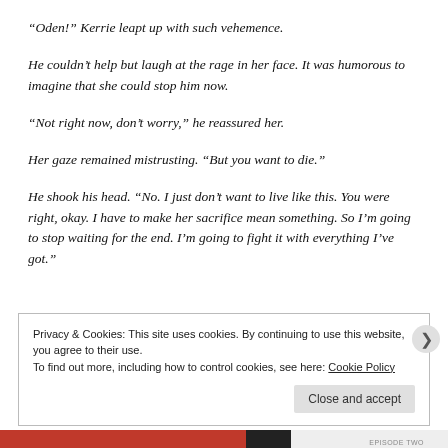“Oden!” Kerrie leapt up with such vehemence.
He couldn’t help but laugh at the rage in her face. It was humorous to imagine that she could stop him now.
“Not right now, don’t worry,” he reassured her.
Her gaze remained mistrusting. “But you want to die.”
He shook his head. “No. I just don’t want to live like this. You were right, okay. I have to make her sacrifice mean something. So I’m going to stop waiting for the end. I’m going to fight it with everything I’ve got.”
Privacy & Cookies: This site uses cookies. By continuing to use this website, you agree to their use.
To find out more, including how to control cookies, see here: Cookie Policy